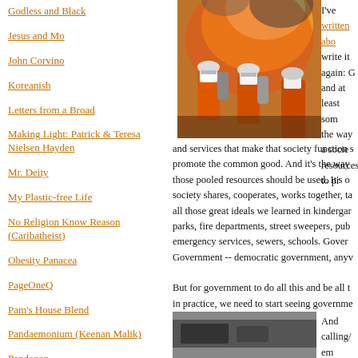Godless and Black
Jesus and Mo
John Corvino
Koreanish
Letters from a Broad
Making Light: Patrick & Teresa Nielsen Hayden
Mr. Deity
My Plastic-free Life
No Religion Know Reason (Caribatheist)
Obesity Panacea
PageOneQ
Pam's House Blend
Pandaemonium (Keenan Malik)
Pandagon
Pharyngula
PodBlack Cat
Rachel Kramer Bussel: Lusty Lady
[Figure (photo): Firefighters in orange suits working near large flames]
I've written abo write it again: G and at least som the way a socie resources, to pr and services that make that society function s promote the common good. And it's the way those pooled resources should be used. It's o society shares, cooperates, works together, ta all those great ideals we learned in kindergar parks, fire departments, street sweepers, pub emergency services, sewers, schools. Gover Government -- democratic government, anyv But for government to do all this and be all t in practice, we need to start seeing governme And calling/ em
[Figure (photo): Partial view of a second photograph at bottom]